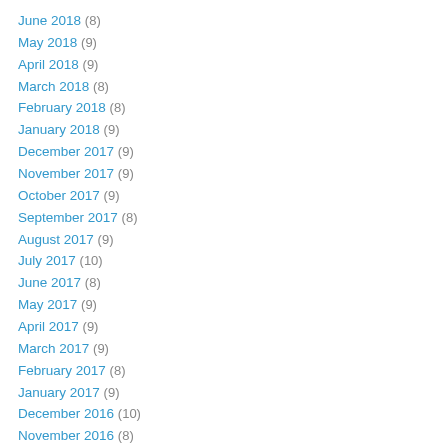June 2018 (8)
May 2018 (9)
April 2018 (9)
March 2018 (8)
February 2018 (8)
January 2018 (9)
December 2017 (9)
November 2017 (9)
October 2017 (9)
September 2017 (8)
August 2017 (9)
July 2017 (10)
June 2017 (8)
May 2017 (9)
April 2017 (9)
March 2017 (9)
February 2017 (8)
January 2017 (9)
December 2016 (10)
November 2016 (8)